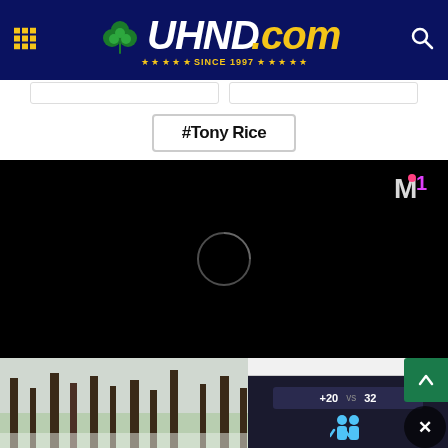UHND.com — Since 1997
#Tony Rice
[Figure (screenshot): Black video player with loading spinner and M1 watermark in upper right]
[Figure (screenshot): Bottom section showing a winter outdoor photo on left and an advertisement panel on right with 'Hold and Move' label and score display]